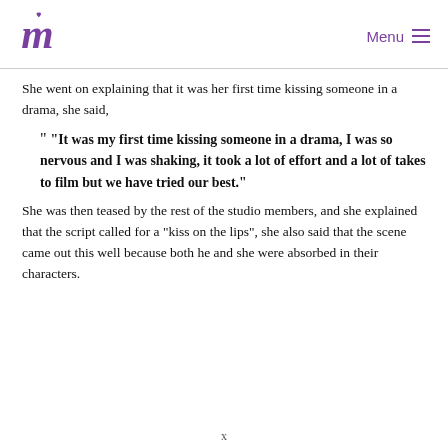M [logo] | Menu
She went on explaining that it was her first time kissing someone in a drama, she said,
“ “It was my first time kissing someone in a drama, I was so nervous and I was shaking, it took a lot of effort and a lot of takes to film but we have tried our best.”
She was then teased by the rest of the studio members, and she explained that the script called for a “kiss on the lips”, she also said that the scene came out this well because both he and she were absorbed in their characters.
x